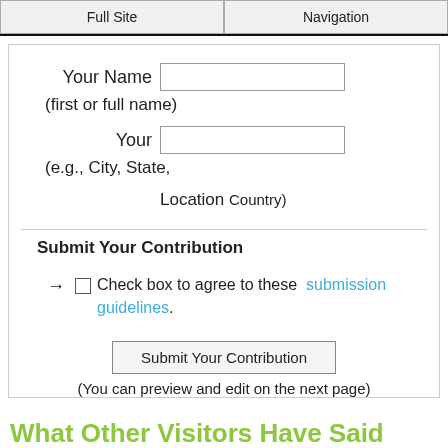Full Site | Navigation
Your Name [input] (first or full name)
Your Location [input] (e.g., City, State, Country)
Submit Your Contribution
→ □ Check box to agree to these submission guidelines.
Submit Your Contribution
(You can preview and edit on the next page)
What Other Visitors Have Said